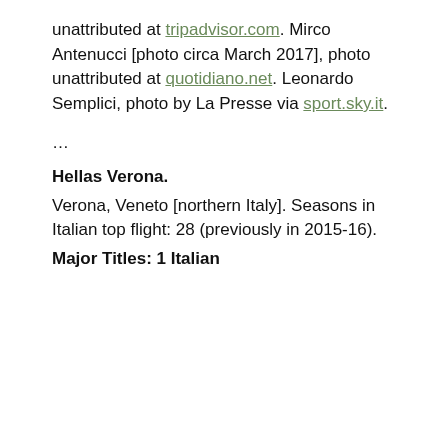unattributed at tripadvisor.com. Mirco Antenucci [photo circa March 2017], photo unattributed at quotidiano.net. Leonardo Semplici, photo by La Presse via sport.sky.it.
…
Hellas Verona.
Verona, Veneto [northern Italy]. Seasons in Italian top flight: 28 (previously in 2015-16).
Major Titles: 1 Italian